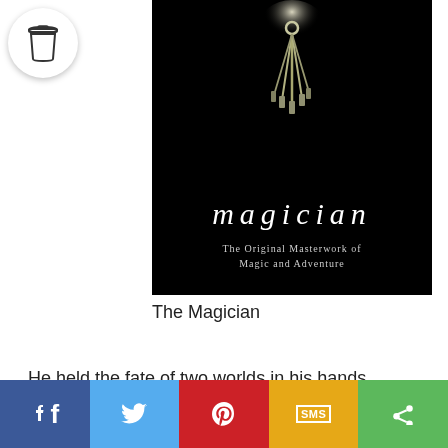[Figure (photo): Book cover of 'Magician: The Original Masterwork of Magic and Adventure' — dark background with hanging keys above the title text]
The Magician
He held the fate of two worlds in his hands . . . Once, he was an orphan called Pug, apprenticed to a sorcerer of the enchanted land of Midkemia. Then he was captured and enslaved by the Tsurani, a strange, warlike race of invaders from another world.
[Figure (infographic): Social share bar with Facebook, Twitter, Pinterest, SMS, and Share buttons]